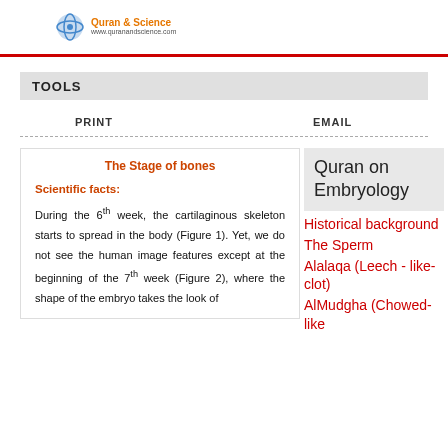Quran & Science
TOOLS
PRINT   EMAIL
The Stage of bones
Scientific facts:
During the 6th week, the cartilaginous skeleton starts to spread in the body (Figure 1). Yet, we do not see the human image features except at the beginning of the 7th week (Figure 2), where the shape of the embryo takes the look of
Quran on Embryology
Historical background
The Sperm
Alalaqa (Leech - like-clot)
AlMudgha (Chowed-like